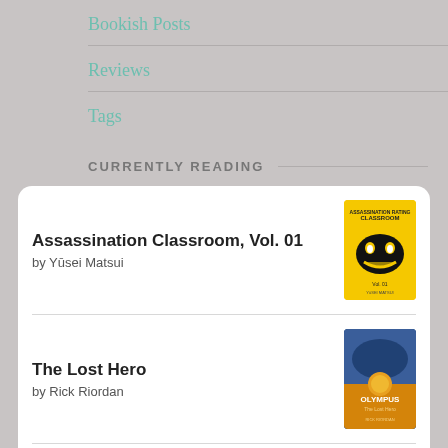Bookish Posts
Reviews
Tags
CURRENTLY READING
[Figure (screenshot): Goodreads widget showing currently reading books: 'Assassination Classroom, Vol. 01 by Yūsei Matsui' and 'The Lost Hero by Rick Riordan', with a goodreads button at the bottom.]